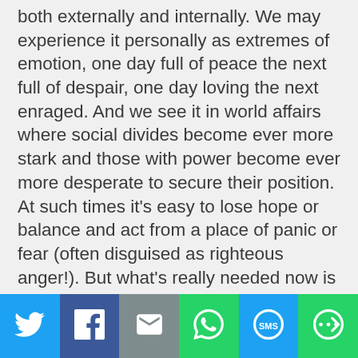both externally and internally. We may experience it personally as extremes of emotion, one day full of peace the next full of despair, one day loving the next enraged. And we see it in world affairs where social divides become ever more stark and those with power become ever more desperate to secure their position. At such times it's easy to lose hope or balance and act from a place of panic or fear (often disguised as righteous anger!). But what's really needed now is a groundswell of compassionate action in our lives; action which says 'I cannot allow injustice but I recognise that I too perpetuate it. I will address my own prejudices, judgements and condemnations just as I ask you to. Mine may not be as great or as prolific as yours, but they all contribute to the suffering of
[Figure (infographic): Social sharing bar with six buttons: Twitter (blue), Facebook (dark blue), Email (grey), WhatsApp (green), SMS (blue), More/share (green)]